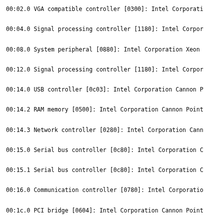00:02.0 VGA compatible controller [0300]: Intel Corporati
00:04.0 Signal processing controller [1180]: Intel Corpor
00:08.0 System peripheral [0880]: Intel Corporation Xeon
00:12.0 Signal processing controller [1180]: Intel Corpor
00:14.0 USB controller [0c03]: Intel Corporation Cannon P
00:14.2 RAM memory [0500]: Intel Corporation Cannon Point
00:14.3 Network controller [0280]: Intel Corporation Cann
00:15.0 Serial bus controller [0c80]: Intel Corporation C
00:15.1 Serial bus controller [0c80]: Intel Corporation C
00:16.0 Communication controller [0780]: Intel Corporatio
00:1c.0 PCI bridge [0604]: Intel Corporation Cannon Point
00:1d.0 PCI bridge [0604]: Intel Corporation Cannon Point
00:1d.4 PCI bridge [0604]: Intel Corporation Cannon Point
00:1f.0 ISA bridge [0601]: Intel Corporation Cannon Point
00:1f.3 Audio device [0403]: Intel Corporation Cannon Poi
00:1f.4 SMBus [0c05]: Intel Corporation Cannon Point-LP S
00:1f.5 Serial bus controller [0c80]: Intel Corporation C